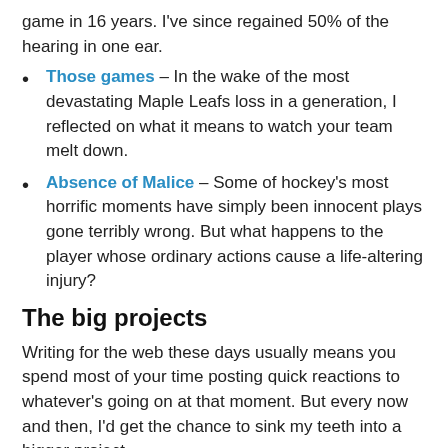game in 16 years. I've since regained 50% of the hearing in one ear.
Those games – In the wake of the most devastating Maple Leafs loss in a generation, I reflected on what it means to watch your team melt down.
Absence of Malice – Some of hockey's most horrific moments have simply been innocent plays gone terribly wrong. But what happens to the player whose ordinary actions cause a life-altering injury?
The big projects
Writing for the web these days usually means you spend most of your time posting quick reactions to whatever's going on at that moment. But every now and then, I'd get the chance to sink my teeth into a bigger project.
How I'd fix the NHL -- Grantland's "How we'd fix it" feature was one of my favorites. Eventually,